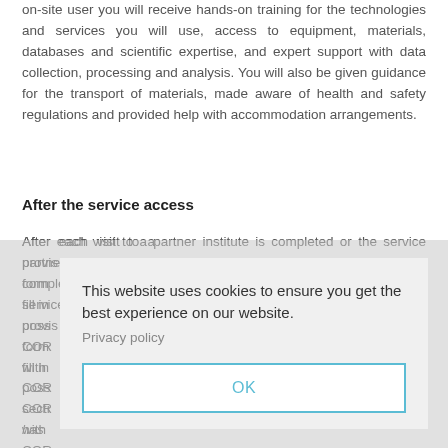on-site user you will receive hands-on training for the technologies and services you will use, access to equipment, materials, databases and scientific expertise, and expert support with data collection, processing and analysis. You will also be given guidance for the transport of materials, made aware of health and safety regulations and provided help with accommodation arrangements.
After the service access
After each visit to a partner institute is completed or the service provision is finished, you will be required to fill in a brief feedback form... fill in... possible... CORBEL... with... CORBEL... section... has... research... 654248". Relevant research data must be made available within
[Figure (screenshot): Cookie consent dialog overlay. Text reads: 'This website uses cookies to ensure you get the best experience on our website.' Link: 'Privacy policy'. Button: 'OK' with a teal/cyan border.]